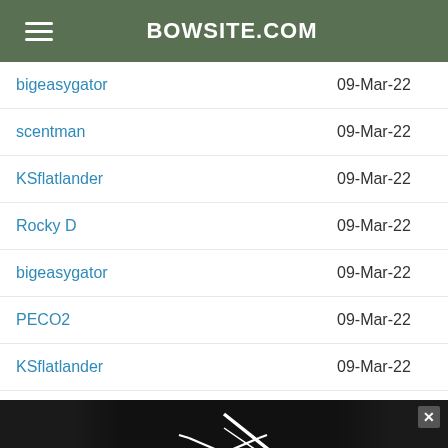BOWSITE.COM
bigeasygator	09-Mar-22
scentman	09-Mar-22
KSflatlander	09-Mar-22
Rocky D	09-Mar-22
bigeasygator	09-Mar-22
PECO2	09-Mar-22
KSflatlander	09-Mar-22
bigeasygator	09-Mar-22
Rocky D	09-Mar-22
bigeasygator	09-Mar-22
newfi1946moose	09-Mar-22
TGbow	09-Mar-22
[Figure (photo): Rooftop Arms advertisement banner with logo, guns on left and right sides, tagline 'Range Ready | Ultra Premium | Custom | Hand Assembled Guns', CTA 'Click to enter our $1000 raffle now', subtext 'USA MADE - VETERAN OWNED']
benne	09-Mar-22